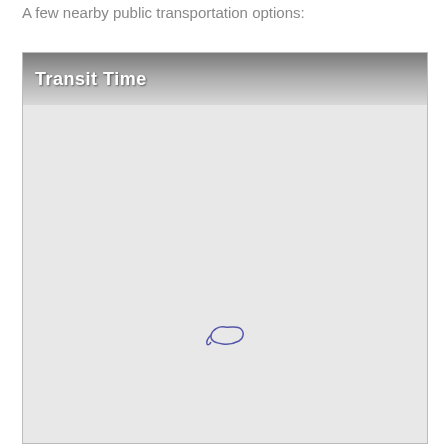A few nearby public transportation options:
[Figure (map): Transit Time map showing a geographic area with a small blue outline of a region/shape near the center-lower portion of the map. The map has a gray header bar labeled 'Transit Time' and the map body is a plain light gray background.]